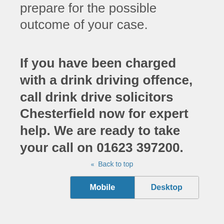prepare for the possible outcome of your case.
If you have been charged with a drink driving offence, call drink drive solicitors Chesterfield now for expert help.  We are ready to take your call on 01623 397200.
⇪ Back to top
Mobile | Desktop